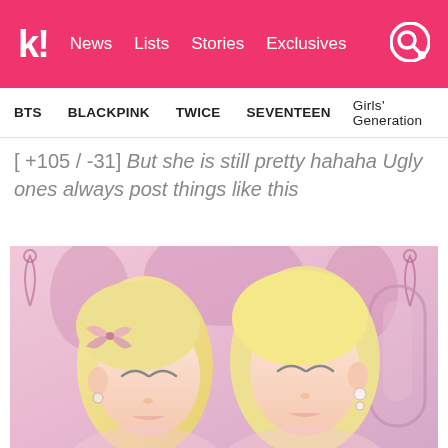k! News  Lists  Stories  Exclusives
BTS   BLACKPINK   TWICE   SEVENTEEN   Girls' Generation
[ +105 / -31] But she is still pretty hahaha Ugly ones always post things like this
[Figure (photo): Two women with blonde hair in a pink fantasy setting, eyes closed, wearing decorative accessories]